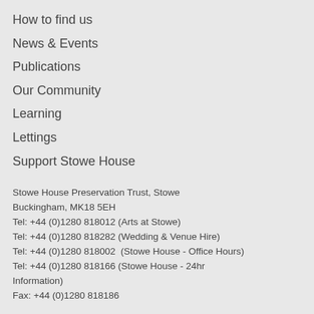How to find us
News & Events
Publications
Our Community
Learning
Lettings
Support Stowe House
Stowe House Preservation Trust, Stowe Buckingham, MK18 5EH
Tel: +44 (0)1280 818012 (Arts at Stowe)
Tel: +44 (0)1280 818282 (Wedding & Venue Hire)
Tel: +44 (0)1280 818002  (Stowe House - Office Hours)
Tel: +44 (0)1280 818166 (Stowe House - 24hr Information)
Fax: +44 (0)1280 818186